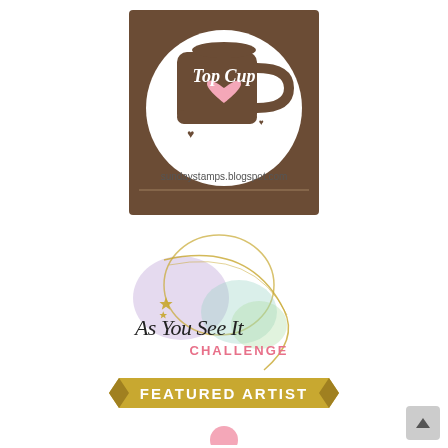[Figure (logo): Sunday Stamps Top Cup badge: brown square background with white circle, brown coffee mug with pink heart and 'Top Cup' in white script, small brown hearts, text 'sundaystamps.blogspot.com' below]
[Figure (logo): As You See It Challenge Featured Artist badge: colorful watercolor circles (purple, yellow, teal, green), gold swirl lines, sparkle stars, 'As You See It' in black script with 'CHALLENGE' in pink caps, gold banner ribbon with 'FEATURED ARTIST' in white caps]